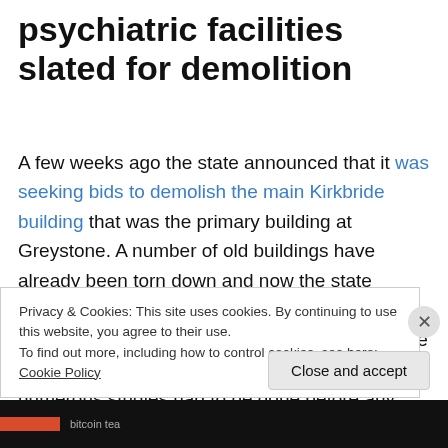psychiatric facilities slated for demolition
A few weeks ago the state announced that it was seeking bids to demolish the main Kirkbride building that was the primary building at Greystone. A number of old buildings have already been torn down and now the state intends to finish the job. This week similar plans were announced for Marlboro. Marlboros demise was actually announced 2 years ago but numerous studies had to be done before any actual demolition could take place. The facility opened
Privacy & Cookies: This site uses cookies. By continuing to use this website, you agree to their use.
To find out more, including how to control cookies, see here: Cookie Policy
Close and accept